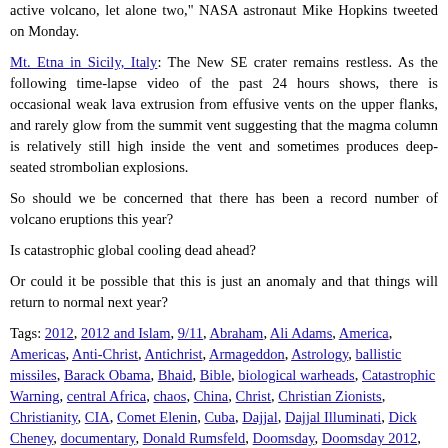active volcano, let alone two," NASA astronaut Mike Hopkins tweeted on Monday.
Mt. Etna in Sicily, Italy: The New SE crater remains restless. As the following time-lapse video of the past 24 hours shows, there is occasional weak lava extrusion from effusive vents on the upper flanks, and rarely glow from the summit vent suggesting that the magma column is relatively still high inside the vent and sometimes produces deep-seated strombolian explosions.
So should we be concerned that there has been a record number of volcano eruptions this year?
Is catastrophic global cooling dead ahead?
Or could it be possible that this is just an anomaly and that things will return to normal next year?
Tags: 2012, 2012 and Islam, 9/11, Abraham, Ali Adams, America, Americas, Anti-Christ, Antichrist, Armageddon, Astrology, ballistic missiles, Barack Obama, Bhaid, Bible, biological warheads, Catastrophic Warning, central Africa, chaos, China, Christ, Christian Zionists, Christianity, CIA, Comet Elenin, Cuba, Dajjal, Dajjal Illuminati, Dick Cheney, documentary, Donald Rumsfeld, Doomsday, Doomsday 2012, Dying sun lights, economic collapse, economic crisis, Egypt, Electric power, electromagnetic energy